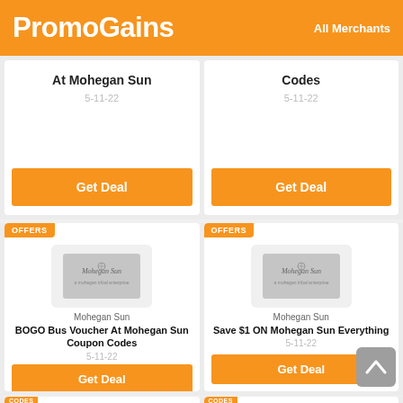PromoGains   All Merchants
At Mohegan Sun
5-11-22
Get Deal
Codes
5-11-22
Get Deal
OFFERS
[Figure (logo): Mohegan Sun logo]
Mohegan Sun
BOGO Bus Voucher At Mohegan Sun Coupon Codes
5-11-22
Get Deal
OFFERS
[Figure (logo): Mohegan Sun logo]
Mohegan Sun
Save $1 ON Mohegan Sun Everything
5-11-22
Get Deal
CODES
CODES